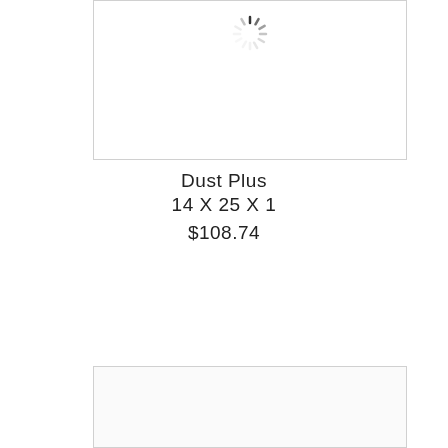[Figure (screenshot): Product image placeholder with loading spinner at top]
Dust Plus
14 X 25 X 1
$108.74
[Figure (screenshot): Add to cart button with dark blue background]
[Figure (screenshot): Second product image placeholder (partially visible)]